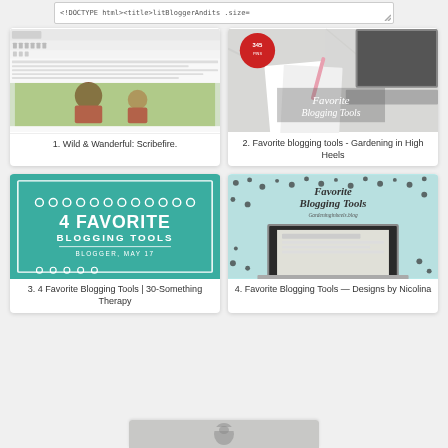[Figure (screenshot): Address bar with monospace HTML text]
[Figure (screenshot): Card 1: Wild & Wanderful: Scribefire - shows a blog post editor with a family photo]
1. Wild & Wanderful: Scribefire.
[Figure (photo): Card 2: Favorite Blogging Tools - Gardening in High Heels - teal/red badge, white notebooks, laptop on marble]
2. Favorite blogging tools - Gardening in High Heels
[Figure (illustration): Card 3: 4 Favorite Blogging Tools | 30-Something Therapy - teal background with white text and floral dots]
3. 4 Favorite Blogging Tools | 30-Something Therapy
[Figure (photo): Card 4: Favorite Blogging Tools — Designs by Nicolina - light blue background with polka dots and laptop]
4. Favorite Blogging Tools — Designs by Nicolina
[Figure (screenshot): Card 5 (partial): partially visible laptop/Apple logo image at bottom]